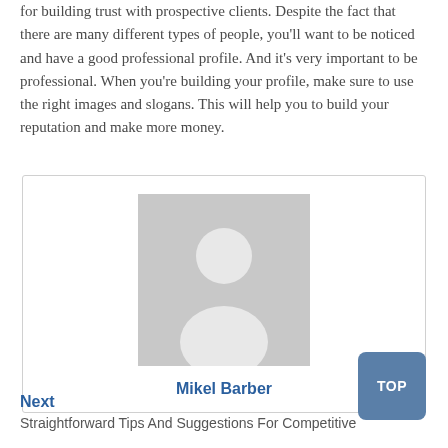for building trust with prospective clients. Despite the fact that there are many different types of people, you'll want to be noticed and have a good professional profile. And it's very important to be professional. When you're building your profile, make sure to use the right images and slogans. This will help you to build your reputation and make more money.
[Figure (illustration): Generic user avatar placeholder image (grey silhouette of a person on grey background) inside a bordered card, with the author name 'Mikel Barber' below in blue text.]
Mikel Barber
Next
Straightforward Tips And Suggestions For Competitive